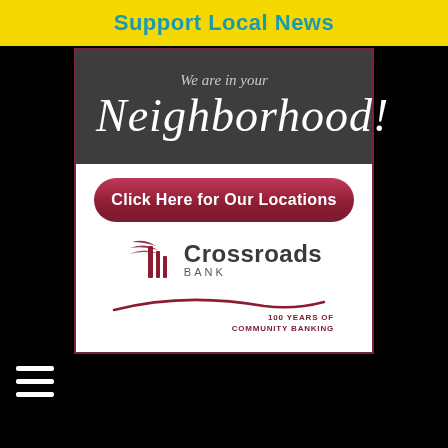Support Local News
[Figure (illustration): Crossroads Bank advertisement. Top section: dark gray background with text 'We are in your Neighborhood!' in white script. Bottom section: white background with a dark red rounded button 'Click Here for Our Locations', and the Crossroads Bank logo with swoosh graphic and tagline '100 YEARS OF COMMUNITY BANKING'.]
[Figure (other): Hamburger menu icon (three white horizontal lines)]